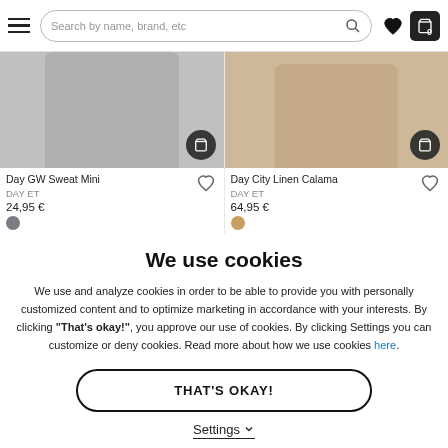Search by name, brand, etc
[Figure (screenshot): Product listing: Day GW Sweat Mini by DAY ET, 24.95€, grey swatch]
[Figure (screenshot): Product listing: Day City Linen Calama by DAY ET, 64.95€, beige swatch]
We use cookies
We use and analyze cookies in order to be able to provide you with personally customized content and to optimize marketing in accordance with your interests. By clicking "That's okay!", you approve our use of cookies. By clicking Settings you can customize or deny cookies. Read more about how we use cookies here.
THAT'S OKAY!
Settings